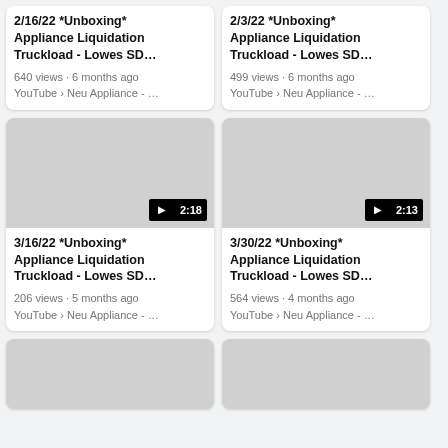[Figure (screenshot): YouTube video search results grid showing Appliance Liquidation Truckload unboxing videos from Neu Appliance channel]
2/16/22 *Unboxing* Appliance Liquidation Truckload - Lowes SD...
640 views · 6 months ago
YouTube › Neu Appliance - ...
2/3/22 *Unboxing* Appliance Liquidation Truckload - Lowes SD...
499 views · 6 months ago
YouTube › Neu Appliance - ...
3/16/22 *Unboxing* Appliance Liquidation Truckload - Lowes SD...
206 views · 5 months ago
YouTube › Neu Appliance - ...
3/30/22 *Unboxing* Appliance Liquidation Truckload - Lowes SD...
564 views · 4 months ago
YouTube › Neu Appliance - ...